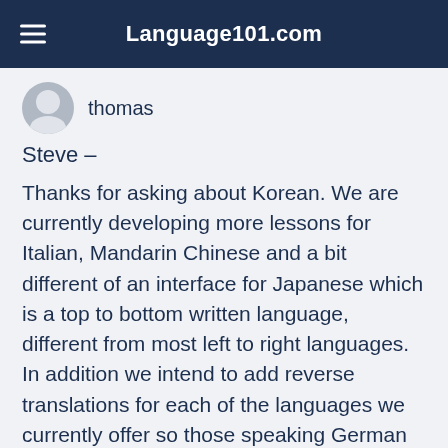Language101.com
thomas
Steve –
Thanks for asking about Korean. We are currently developing more lessons for Italian, Mandarin Chinese and a bit different of an interface for Japanese which is a top to bottom written language, different from most left to right languages. In addition we intend to add reverse translations for each of the languages we currently offer so those speaking German for instance can begin to learn English too!
These projects are keeping us very busy!